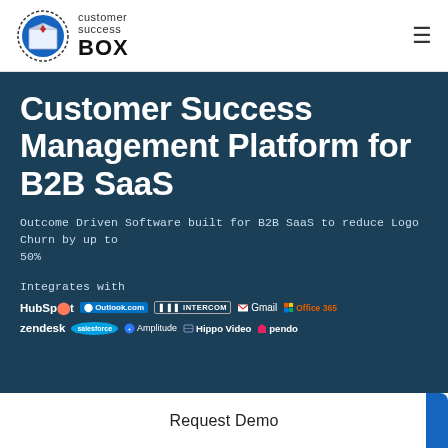[Figure (logo): Customer Success Box logo: circular icon with a box shape and diamond, dashed border, blue circle outline, with text 'customer success BOX' beside it]
Customer Success Management Platform for B2B SaaS
Outcome Driven Software built for B2B SaaS to reduce Logo Churn by up to 50%
Integrates with
[Figure (infographic): Integration logos row 1: HubSpot, Outlook.com, INTERCOM, Gmail, Office 365]
[Figure (infographic): Integration logos row 2: zendesk, salesforce, Amplitude, Hippo Video, pendo]
Request Demo